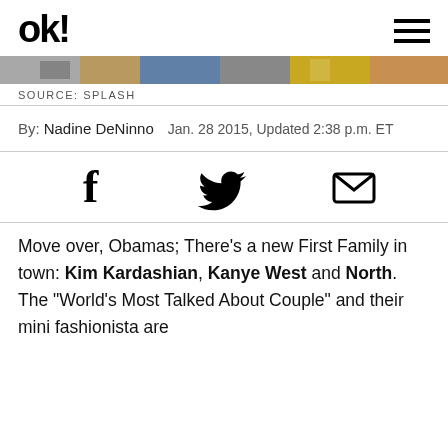OK!
[Figure (photo): Horizontal image strip showing partial photos of people]
SOURCE: SPLASH
By: Nadine DeNinno  Jan. 28 2015, Updated 2:38 p.m. ET
[Figure (illustration): Social share icons: Facebook f, Twitter bird, Email envelope]
Move over, Obamas; There’s a new First Family in town: Kim Kardashian, Kanye West and North. The “World’s Most Talked About Couple” and their mini fashionista are